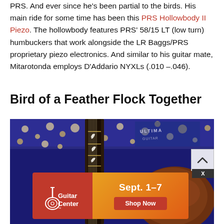PRS. And ever since he's been partial to the birds. His main ride for some time has been this PRS Hollowbody II Piezo. The hollowbody features PRS' 58/15 LT (low turn) humbuckers that work alongside the LR Baggs/PRS proprietary piezo electronics. And similar to his guitar mate, Mitarotonda employs D'Addario NYXLs (.010 –.046).
Bird of a Feather Flock Together
[Figure (photo): Close-up photo of a guitar neck and body, likely a PRS model, leaning against a blue amplifier. The guitar shows intricate bird inlays on the fretboard. A pink guitar pick is visible near the guitar body.]
[Figure (other): Guitar Center advertisement banner. Red left panel with Guitar Center logo (guitar icon and 'Guitar Center' text). Orange/amber right panel with white bold text 'Sept. 1-7' and a red 'Shop Now' button.]